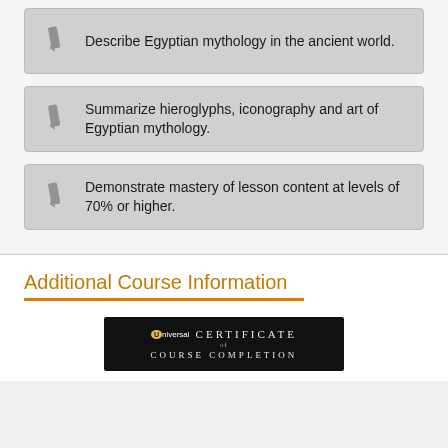Describe Egyptian mythology in the ancient world.
Summarize hieroglyphs, iconography and art of Egyptian mythology.
Demonstrate mastery of lesson content at levels of 70% or higher.
Additional Course Information
[Figure (photo): Certificate of Course Completion image with Universal Class branding on dark background]